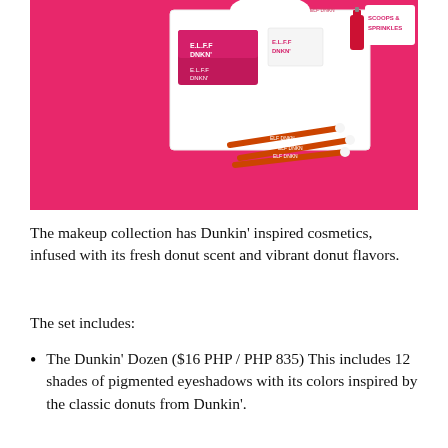[Figure (photo): Product photo of E.L.F. x Dunkin' makeup collection on a pink background, showing branded packaging boxes, makeup brushes with orange handles, and a small red bottle.]
The makeup collection has Dunkin' inspired cosmetics, infused with its fresh donut scent and vibrant donut flavors.
The set includes:
The Dunkin' Dozen ($16 PHP / PHP 835) This includes 12 shades of pigmented eyeshadows with its colors inspired by the classic donuts from Dunkin'.